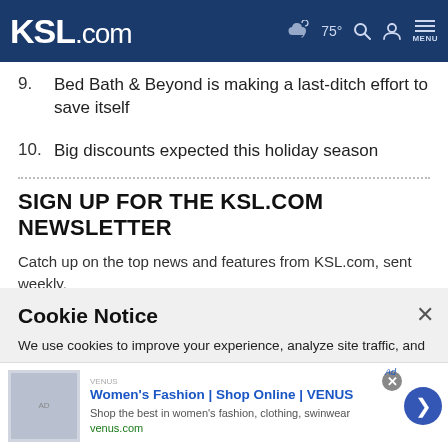KSL.com — 75° MENU
9. Bed Bath & Beyond is making a last-ditch effort to save itself
10. Big discounts expected this holiday season
SIGN UP FOR THE KSL.COM NEWSLETTER
Catch up on the top news and features from KSL.com, sent weekly.
Cookie Notice
We use cookies to improve your experience, analyze site traffic, and to personalize content and ads. By continuing to use our site, you consent to our use of cookies. Please visit our Terms of Use and Privacy Policy for more information
Women's Fashion | Shop Online | VENUS
Shop the best in women's fashion, clothing, swinwear
venus.com